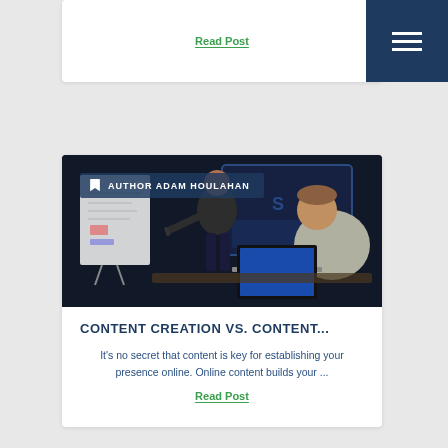Read Post
[Figure (photo): Two men in a dark room: one standing presenting at a whiteboard with a marker, another seated at a laptop. Dark blue room background with screen.]
AUTHOR ADAM HOULAHAN
CONTENT CREATION VS. CONTENT...
It's no secret that content is key for establishing your presence online. Online content builds your ...
Read Post